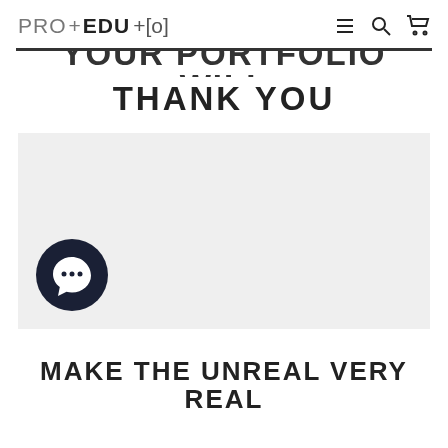PRO+EDU [o]
YOUR PORTFOLIO WILL THANK YOU
[Figure (screenshot): Gray placeholder image area showing a video or content thumbnail with a dark circular chat/comment icon in the lower left corner]
MAKE THE UNREAL VERY REAL